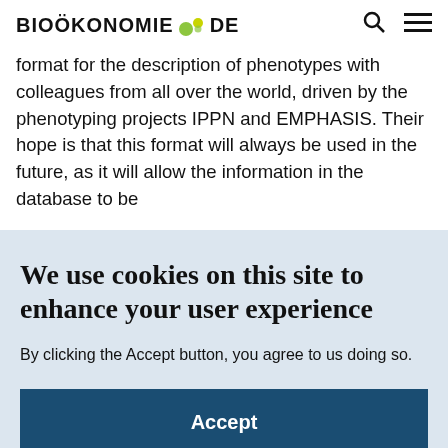BIOÖKONOMIE DE
format for the description of phenotypes with colleagues from all over the world, driven by the phenotyping projects IPPN and EMPHASIS. Their hope is that this format will always be used in the future, as it will allow the information in the database to be
We use cookies on this site to enhance your user experience
By clicking the Accept button, you agree to us doing so.
Accept